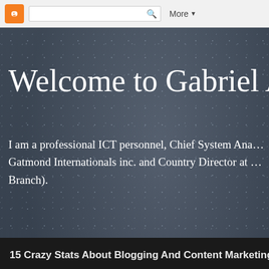[Figure (screenshot): Blogger navigation bar with orange Blogger icon, search box with magnifying glass icon, and More dropdown button]
Welcome to Gabriel A
I am a professional ICT personnel, Chief System Ana... Gatmond Internationals inc. and Country Director at ... Branch).
Saturday, 28 January 2017
15 Crazy Stats About Blogging And Content Marketing
Did you know that 82 percent of marketers who blog daily acc... their blog, as opposed to 57 percent of marketers who blog m... is still an impressive result.